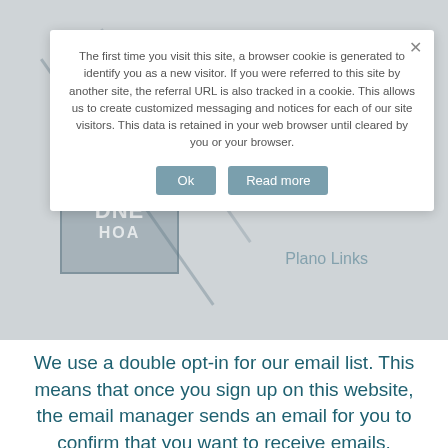[Figure (screenshot): Website screenshot showing a cookie consent modal popup overlaid on a website. The background shows a navigation bar with 'Home', 'About Us', 'Texas Pool Association' and 'Plano Links' navigation items, along with a DNE HOA logo. The modal contains cookie policy text and two buttons: 'Ok' and 'Read more'.]
We use a double opt-in for our email list. This means that once you sign up on this website, the email manager sends an email for you to confirm that you want to receive emails.
It is very important that you click the link to confirm your subscription. If you don't you may not receive our emails.